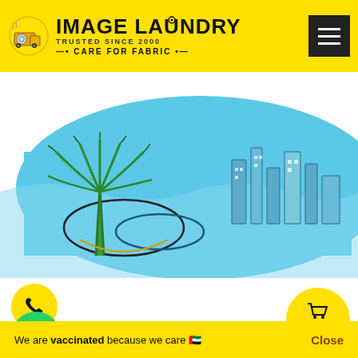[Figure (logo): Image Laundry logo with text 'IMAGE LAUNDRY TRUSTED SINCE 2000 • CARE FOR FABRIC •' on yellow header background, with hamburger menu button]
[Figure (illustration): Illustrated aerial view of Palm Jumeirah and Dubai cityscape in blue and green sketch style]
[Figure (other): Yellow circular phone call button with phone handset icon]
[Figure (other): Green circular WhatsApp button with WhatsApp logo]
[Figure (other): Yellow circular Request a Pickup button with shopping cart icon]
We are vaccinated because we care 🇦🇪
Close